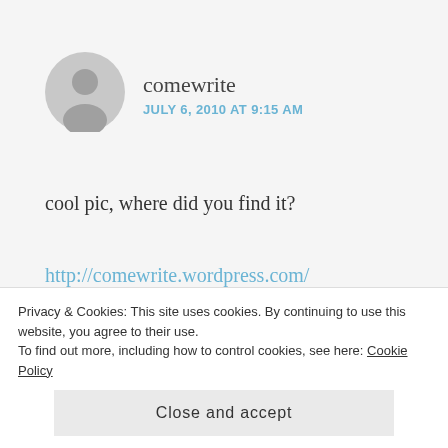[Figure (illustration): Gray circular avatar placeholder icon with silhouette of a person]
comewrite
JULY 6, 2010 AT 9:15 AM
cool pic, where did you find it?
http://comewrite.wordpress.com/
★ Like
REPLY
Privacy & Cookies: This site uses cookies. By continuing to use this website, you agree to their use.
To find out more, including how to control cookies, see here: Cookie Policy
Close and accept